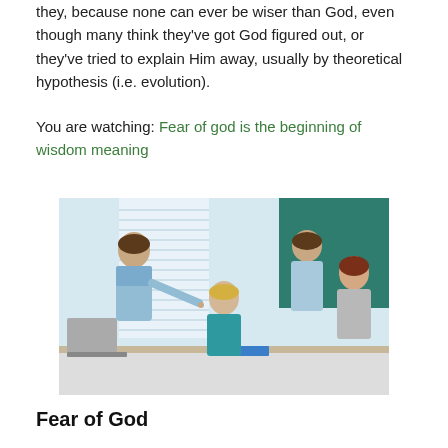they, because none can ever be wiser than God, even though many think they've got God figured out, or they've tried to explain Him away, usually by theoretical hypothesis (i.e. evolution).
You are watching: Fear of god is the beginning of wisdom meaning
[Figure (photo): Students gathered around a desk in a classroom setting, with one student standing and pointing at something, others seated and looking attentively.]
Fear of God